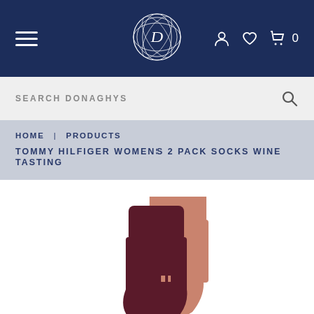Donaghys navigation bar with hamburger menu, D logo, account, wishlist, and cart icons
SEARCH DONAGHYS
HOME | PRODUCTS
TOMMY HILFIGER WOMENS 2 PACK SOCKS WINE TASTING
[Figure (photo): Two pairs of Tommy Hilfiger socks in wine/dark maroon and dusty pink/salmon colours, folded and stacked on a white background]